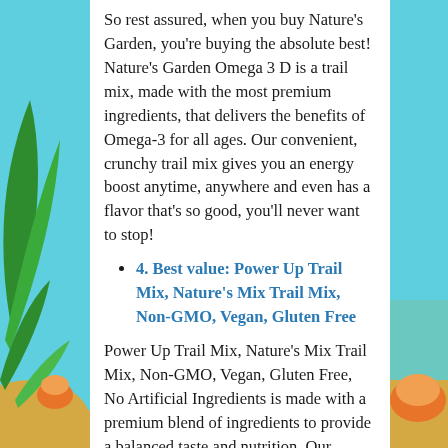So rest assured, when you buy Nature's Garden, you're buying the absolute best! Nature's Garden Omega 3 D is a trail mix, made with the most premium ingredients, that delivers the benefits of Omega-3 for all ages. Our convenient, crunchy trail mix gives you an energy boost anytime, anywhere and even has a flavor that's so good, you'll never want to stop!
4. Best value: Power Up Trail Mix, Nature's Mix Trail Mix, Non-GMO, Vegan, Gluten Free
Power Up Trail Mix, Nature's Mix Trail Mix, Non-GMO, Vegan, Gluten Free, No Artificial Ingredients is made with a premium blend of ingredients to provide a balanced taste and nutrition. Our unique mix includes pumpkin seeds, sunflower seeds and sesame seeds with